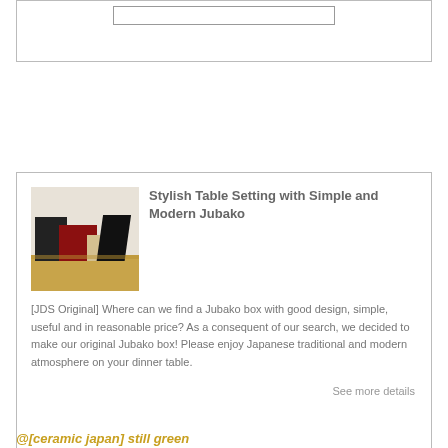[Figure (screenshot): Top portion of a webpage with a bordered box containing a search/input bar near the top center]
[Figure (screenshot): Product card with image of Jubako boxes (red, black, and tan lacquered boxes on a wooden surface), title, description text, and 'See more details' link]
Stylish Table Setting with Simple and Modern Jubako
[JDS Original] Where can we find a Jubako box with good design, simple, useful and in reasonable price? As a consequent of our search, we decided to make our original Jubako box! Please enjoy Japanese traditional and modern atmosphere on your dinner table.
See more details
@[ceramic japan] still green